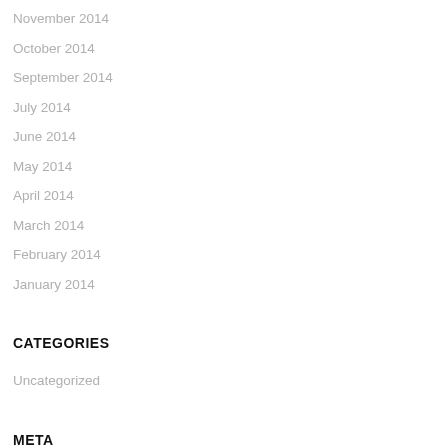November 2014
October 2014
September 2014
July 2014
June 2014
May 2014
April 2014
March 2014
February 2014
January 2014
CATEGORIES
Uncategorized
META